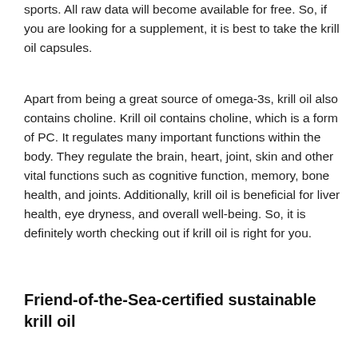sports. All raw data will become available for free. So, if you are looking for a supplement, it is best to take the krill oil capsules.
Apart from being a great source of omega-3s, krill oil also contains choline. Krill oil contains choline, which is a form of PC. It regulates many important functions within the body. They regulate the brain, heart, joint, skin and other vital functions such as cognitive function, memory, bone health, and joints. Additionally, krill oil is beneficial for liver health, eye dryness, and overall well-being. So, it is definitely worth checking out if krill oil is right for you.
Friend-of-the-Sea-certified sustainable krill oil
Having a sustainable source, first certified...